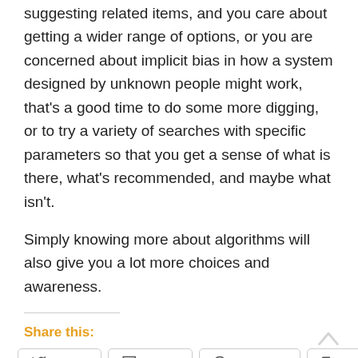suggesting related items, and you care about getting a wider range of options, or you are concerned about implicit bias in how a system designed by unknown people might work, that’s a good time to do some more digging, or to try a variety of searches with specific parameters so that you get a sense of what is there, what’s recommended, and maybe what isn’t.
Simply knowing more about algorithms will also give you a lot more choices and awareness.
Share this:
Twitter
Tumblr
Facebook
Pinterest
Pocket
Reddit
Print